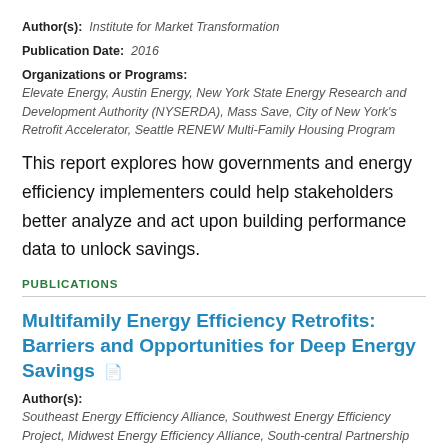Author(s): Institute for Market Transformation
Publication Date: 2016
Organizations or Programs: Elevate Energy, Austin Energy, New York State Energy Research and Development Authority (NYSERDA), Mass Save, City of New York's Retrofit Accelerator, Seattle RENEW Multi-Family Housing Program
This report explores how governments and energy efficiency implementers could help stakeholders better analyze and act upon building performance data to unlock savings.
PUBLICATIONS
Multifamily Energy Efficiency Retrofits: Barriers and Opportunities for Deep Energy Savings
Author(s): Southeast Energy Efficiency Alliance, Southwest Energy Efficiency Project, Midwest Energy Efficiency Alliance, South-central Partnership for Energy Efficiency as a Resource, Northeast Energy Efficiency Partnerships, Inc.